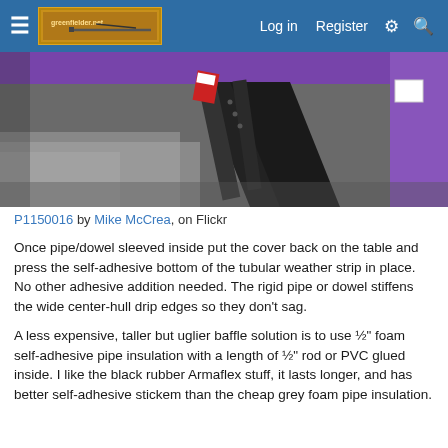Log in  Register
[Figure (photo): Close-up photo of the underside of a purple kayak or canoe hull, showing black tubular weather strip/drip edge material installed along the edge, with dark rubber or foam material visible]
P1150016 by Mike McCrea, on Flickr
Once pipe/dowel sleeved inside put the cover back on the table and press the self-adhesive bottom of the tubular weather strip in place. No other adhesive addition needed. The rigid pipe or dowel stiffens the wide center-hull drip edges so they don't sag.
A less expensive, taller but uglier baffle solution is to use ½" foam self-adhesive pipe insulation with a length of ½" rod or PVC glued inside. I like the black rubber Armaflex stuff, it lasts longer, and has better self-adhesive stickem than the cheap grey foam pipe insulation.